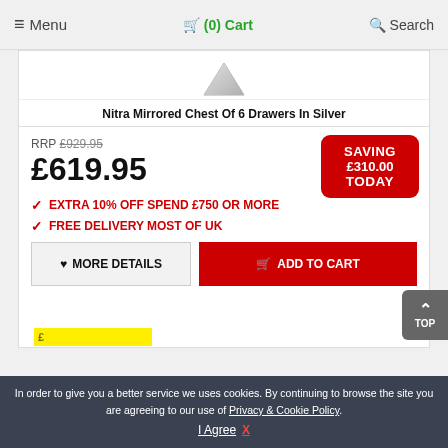≡ Menu   🛒 (0) Cart   🔍 Search
[Figure (photo): Partial product image of Nitra mirrored chest of drawers in silver]
Nitra Mirrored Chest Of 6 Drawers In Silver
RRP £929.95
£619.95
SAVING £310.00 TODAY
✔ EXTRA 10% OFF SPEND £750 OR MORE
✔ FREE DELIVERY MOST OF UK
♥ MORE DETAILS   🛒 ADD TO CART
In order to give you a better service we uses cookies. By continuing to browse the site you are agreeing to our use of Privacy & Cookie Policy. I Agree  X